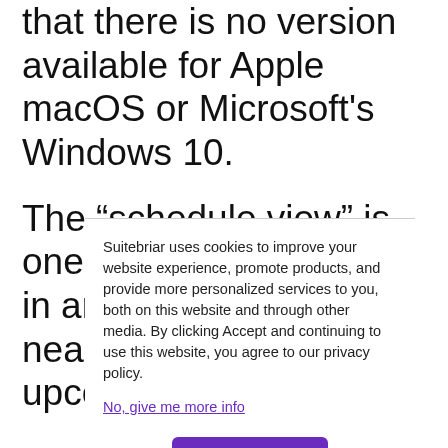that there is no version available for Apple macOS or Microsoft's Windows 10.
The “schedule view” is one of the best features in any calendar app. It nearly organizes all upcoming events into a
Suitebriar uses cookies to improve your website experience, promote products, and provide more personalized services to you, both on this website and through other media. By clicking Accept and continuing to use this website, you agree to our privacy policy.
No, give me more info
Accept